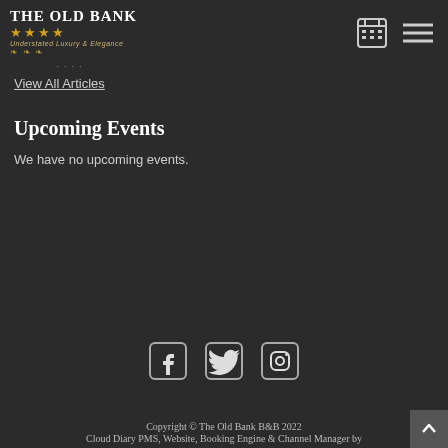THE OLD BANK ★★★★ Understated Luxury & Elegance
View All Articles
Upcoming Events
We have no upcoming events.
[Figure (other): Social media icons: Facebook, Twitter, Instagram]
Copyright © The Old Bank B&B 2022
Cloud Diary PMS, Website, Booking Engine & Channel Manager by